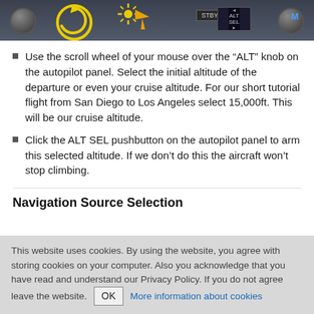[Figure (screenshot): Autopilot panel screenshot showing knobs, a yellow circular arrow icon, sun/cursor icon, STBY button, and ALT SEL button display on a dark grey panel background.]
Use the scroll wheel of your mouse over the “ALT” knob on the autopilot panel. Select the initial altitude of the departure or even your cruise altitude. For our short tutorial flight from San Diego to Los Angeles select 15,000ft. This will be our cruise altitude.
Click the ALT SEL pushbutton on the autopilot panel to arm this selected altitude. If we don’t do this the aircraft won’t stop climbing.
Navigation Source Selection
This website uses cookies. By using the website, you agree with storing cookies on your computer. Also you acknowledge that you have read and understand our Privacy Policy. If you do not agree leave the website. OK More information about cookies